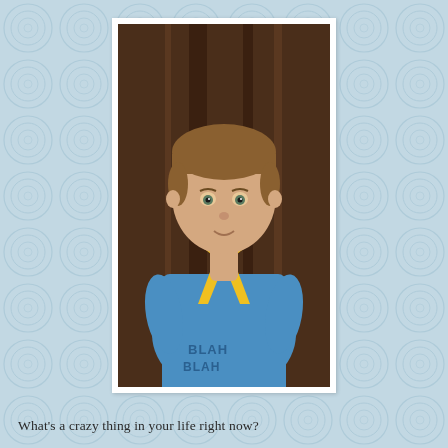[Figure (photo): A young boy with short brown hair wearing a blue t-shirt that says BLAH BLAH, with a large yellow paper bow tied around his neck, standing in front of dark wooden doors.]
What's a crazy thing in your life right now?